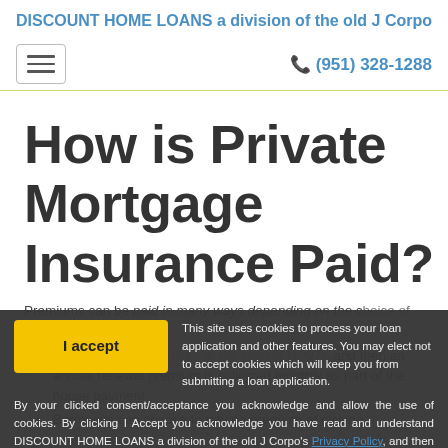DISCOUNT HOME LOANS a division of the old J Corpo
☎ (951) 328-1288
How is Private Mortgage Insurance Paid?
Premiums can be paid in many ways depending on the choice of the borrower:
Pay a one-time premium at the closing, and then an annual renewal premium is collected monthly as part of the house payment.
Borrowers can choose to pay no premium at closing,
This site uses cookies to process your loan application and other features. You may elect not to accept cookies which will keep you from submitting a loan application. By your clicked consent/acceptance you acknowledge and allow the use of cookies. By clicking I Accept you acknowledge you have read and understand DISCOUNT HOME LOANS a division of the old J Corpo's Privacy Policy